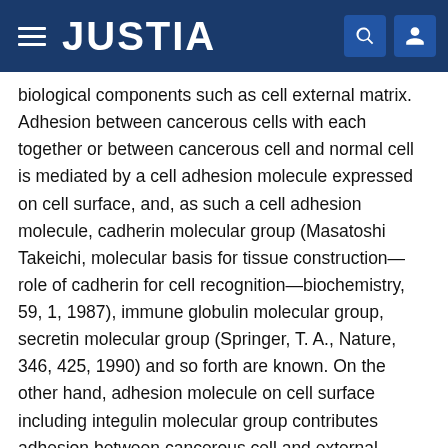JUSTIA
biological components such as cell external matrix. Adhesion between cancerous cells with each together or between cancerous cell and normal cell is mediated by a cell adhesion molecule expressed on cell surface, and, as such a cell adhesion molecule, cadherin molecular group (Masatoshi Takeichi, molecular basis for tissue construction—role of cadherin for cell recognition—biochemistry, 59, 1, 1987), immune globulin molecular group, secretin molecular group (Springer, T. A., Nature, 346, 425, 1990) and so forth are known. On the other hand, adhesion molecule on cell surface including integulin molecular group contributes adhesion between cancerous cell and external matrix including glycoprotein such as fibronectin, laminin and collagen, and proteoglycan being bound with heparan sulfate, chondroitin sulfate etc.